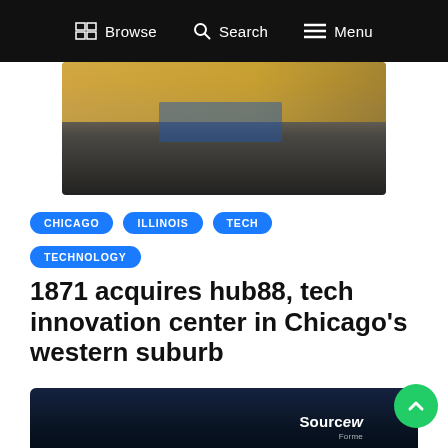Browse  Search  Menu
[Figure (photo): Interior of a meeting room or innovation hub with curved wooden tables, chairs, and a banner in the background.]
CHICAGO
ILLINOIS
TECH
TECHNOLOGY
1871 acquires hub88, tech innovation center in Chicago's western suburb
June 7, 2021
[Figure (photo): Partial view of a city skyline at night with the text 'Sourcew... Forme...' overlay visible.]